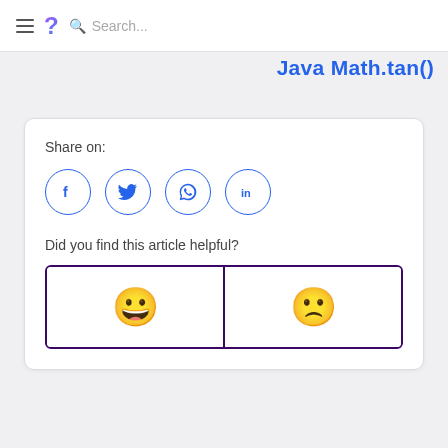≡ ? Search...
Java Math.tan()
Share on:
[Figure (infographic): Four circular social media share buttons: Facebook (f), Twitter (bird), WhatsApp (phone), LinkedIn (in)]
Did you find this article helpful?
[Figure (infographic): Two feedback buttons side by side in a purple-bordered box: left has a smiling emoji (happy face), right has a sad emoji (frowning face)]